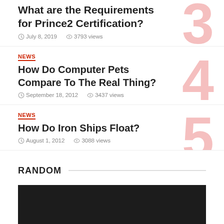What are the Requirements for Prince2 Certification?
July 8, 2019  3793 views
NEWS
How Do Computer Pets Compare To The Real Thing?
September 18, 2012  3437 views
NEWS
How Do Iron Ships Float?
August 1, 2012  3088 views
RANDOM
[Figure (photo): Dark/black rectangular image block]